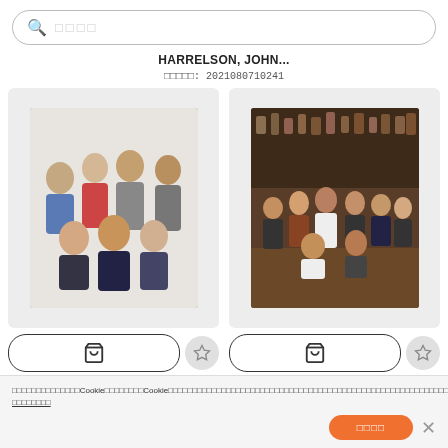□□□□ (search box placeholder)
HARRELSON, JOHN...
□□□□□: 2021080710241
[Figure (photo): Group photo of TV show cast, multiple people posing together on white background]
[Figure (photo): Group photo of TV show cast in a restaurant/bar setting, multiple people seated and standing]
Cookie banner: □□□□□□□□□□□□□□Cookie□□□□□□□□Cookie□□□□□□□□□□□□□□□□□□□□□□□□□□□□□□□□□□□□□□□□□□□□□□□□□□□Cookie□□□□□□□□□□□□□□□□□ □□□□□□□□
□□□□ (accept button)